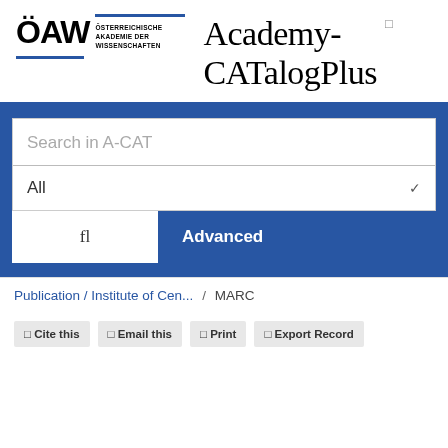[Figure (logo): ÖAW (Österreichische Akademie der Wissenschaften) logo with blue horizontal lines and Academy-CATalogPlus text]
Search in A-CAT
All
fl
Advanced
Publication / Institute of Cen...  /  MARC
Cite this   Email this   Print   Export Record